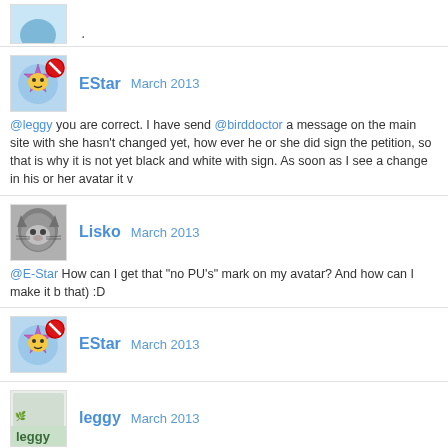[Figure (other): Partial avatar of leggy user]
.
EStar   March 2013
[Figure (other): EStar avatar - furby-like character with no PU sign]
@leggy you are correct. I have send @birddoctor a message on the main site with she hasn't changed yet, how ever he or she did sign the petition, so that is why it is not yet black and white with sign. As soon as I see a change in his or her avatar it v
Lisko   March 2013
[Figure (photo): Lisko avatar - fluffy gray cat]
@E-Star How can I get that "no PU's" mark on my avatar? And how can I make it b that) :D
EStar   March 2013
[Figure (other): EStar avatar - furby-like character with no PU sign]
leggy   March 2013
[Figure (other): leggy avatar - green plant/leggy text image]
.